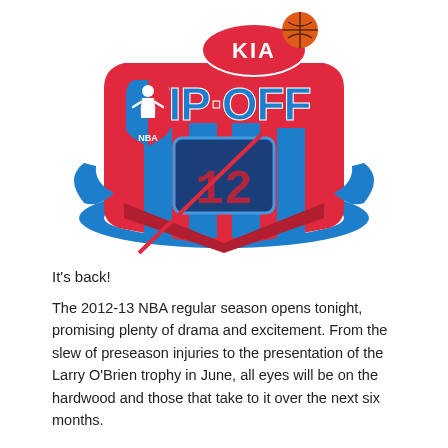[Figure (logo): KIA NBA Tip-Off 2012-13 logo. Red ribbon banner with 'TIP·OFF' in large blue and white letters, KIA oval logo above in red, NBA logo on the left side, blue scoreboard showing '12' in the center, and blue elliptical ring around the base.]
It's back!
The 2012-13 NBA regular season opens tonight, promising plenty of drama and excitement. From the slew of preseason injuries to the presentation of the Larry O'Brien trophy in June, all eyes will be on the hardwood and those that take to it over the next six months.